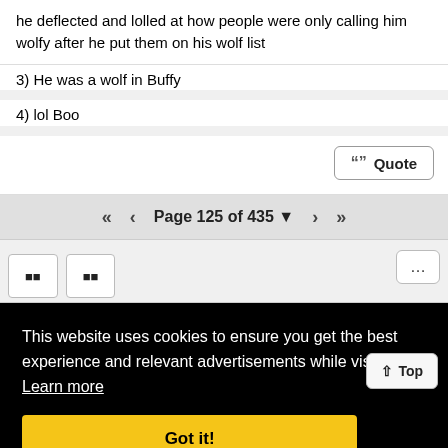he deflected and lolled at how people were only calling him wolfy after he put them on his wolf list
3) He was a wolf in Buffy
4) lol Boo
Quote
Page 125 of 435
This website uses cookies to ensure you get the best experience and relevant advertisements while visiting. Learn more
Got it!
Top